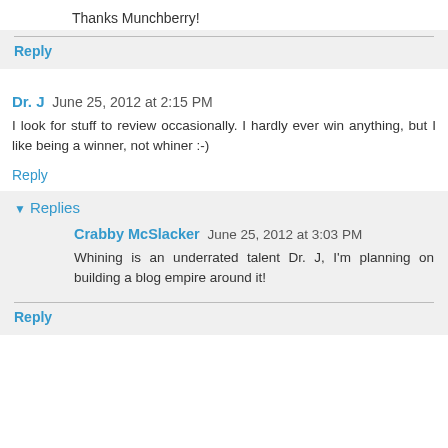Thanks Munchberry!
Reply
Dr. J  June 25, 2012 at 2:15 PM
I look for stuff to review occasionally. I hardly ever win anything, but I like being a winner, not whiner :-)
Reply
Replies
Crabby McSlacker  June 25, 2012 at 3:03 PM
Whining is an underrated talent Dr. J, I'm planning on building a blog empire around it!
Reply